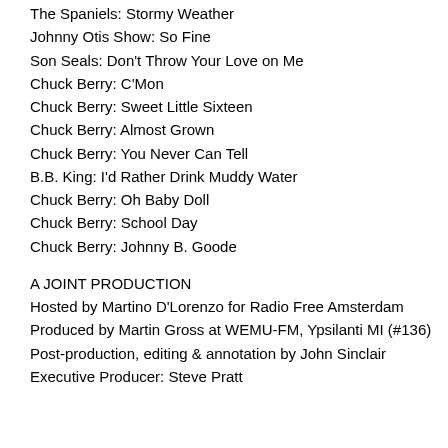The Spaniels: Stormy Weather
Johnny Otis Show: So Fine
Son Seals: Don't Throw Your Love on Me
Chuck Berry: C'Mon
Chuck Berry: Sweet Little Sixteen
Chuck Berry: Almost Grown
Chuck Berry: You Never Can Tell
B.B. King: I'd Rather Drink Muddy Water
Chuck Berry: Oh Baby Doll
Chuck Berry: School Day
Chuck Berry: Johnny B. Goode
A JOINT PRODUCTION
Hosted by Martino D'Lorenzo for Radio Free Amsterdam
Produced by Martin Gross at WEMU-FM, Ypsilanti MI (#136)
Post-production, editing & annotation by John Sinclair
Executive Producer: Steve Pratt